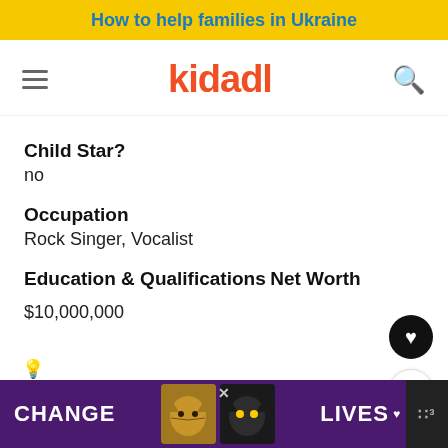How to help families in Ukraine
[Figure (logo): Kidadl logo with hamburger menu and search icon navigation bar]
Child Star?
no
Occupation
Rock Singer, Vocalist
Education & Qualifications
Net Worth
$10,000,000
[Figure (screenshot): Advertisement banner: CHANGE LIVES with cat images on purple background]